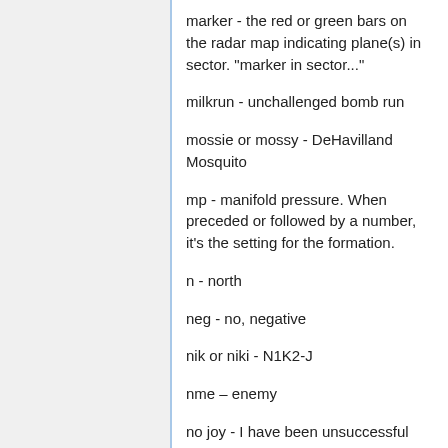marker - the red or green bars on the radar map indicating plane(s) in sector. "marker in sector..."
milkrun - unchallenged bomb run
mossie or mossy - DeHavilland Mosquito
mp - manifold pressure. When preceded or followed by a number, it's the setting for the formation.
n - north
neg - no, negative
nik or niki - N1K2-J
nme – enemy
no joy - I have been unsuccessful
newb, noob - a player who is just starting out and unfamiliar with the game. (derogatory) A player who's actions indicate they don't know what